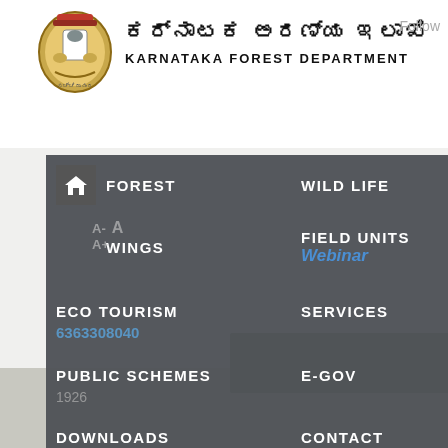[Figure (logo): Karnataka government state emblem/seal logo]
ಕರ್ನಾಟಕ ಅರಣ್ಯ ಇಲಾಖೆ
KARNATAKA FOREST DEPARTMENT
Follow
FOREST
WILD LIFE
WINGS
FIELD UNITS
ECO TOURISM
SERVICES
PUBLIC SCHEMES
E-GOV
DOWNLOADS
CONTACT
VIDEOS
TRANSFER AND COUNSELLING-2022